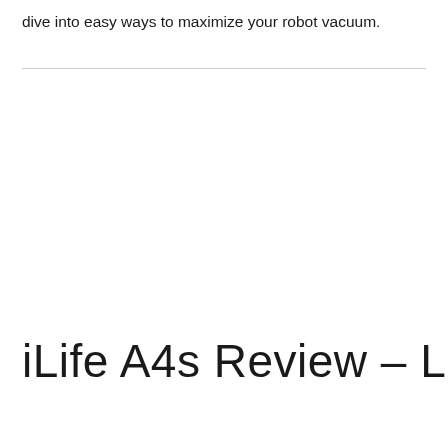dive into easy ways to maximize your robot vacuum.
iLife A4s Review – Lazy